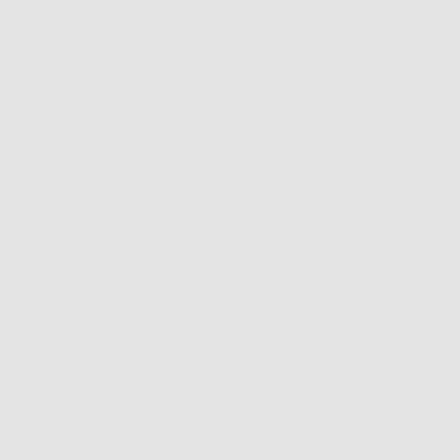will repre their lega containe Jackson Whitley c bankrupt debt relie More Inf
[Figure (photo): Professional headshot of a male attorney in a dark suit with a red tie, against a dark background]
Kristop
Associ
Contact: Greenwo Address: 304, Ogd Phone: 8 475-9800